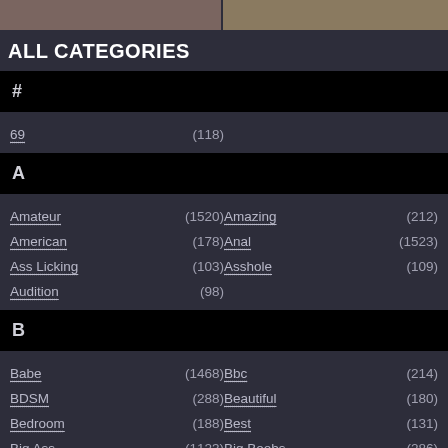[Figure (photo): Two partial photos at top of page]
ALL CATEGORIES
#
69 (118)
A
Amateur (1520)
Amazing (212)
American (178)
Anal (1523)
Ass Licking (103)
Asshole (109)
Audition (98)
B
Babe (1468)
Bbc (214)
BDSM (288)
Beautiful (180)
Bedroom (188)
Best (131)
Big Ass (1123)
Big Boobs (286)